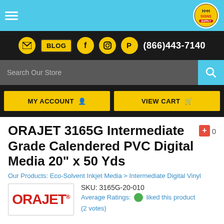H&H Signs store header with navigation icons, phone number (866)443-7140, search bar, MY ACCOUNT and VIEW CART buttons
ORAJET 3165G Intermediate Grade Calendered PVC Digital Media 20" x 50 Yds
Our Products: Eco-Solvent Inkjet Media > Intermediate Digital Vinyl
[Figure (logo): ORAJET logo in red bold text with registered trademark symbol]
SKU: 3165G-20-010
Average Ratings: liked this product (2 votes)